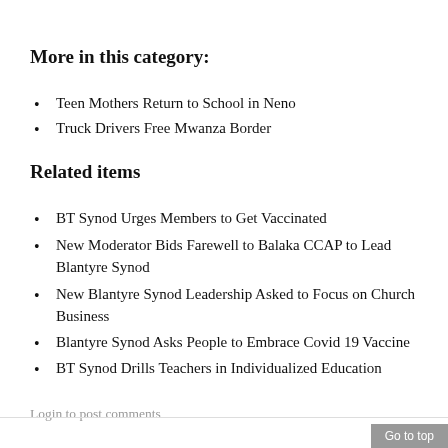More in this category:
Teen Mothers Return to School in Neno
Truck Drivers Free Mwanza Border
Related items
BT Synod Urges Members to Get Vaccinated
New Moderator Bids Farewell to Balaka CCAP to Lead Blantyre Synod
New Blantyre Synod Leadership Asked to Focus on Church Business
Blantyre Synod Asks People to Embrace Covid 19 Vaccine
BT Synod Drills Teachers in Individualized Education
Login to post comments